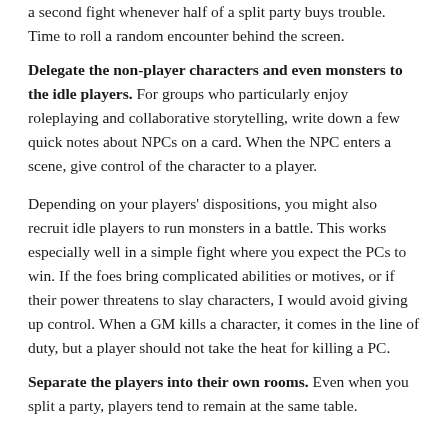a second fight whenever half of a split party buys trouble. Time to roll a random encounter behind the screen.
Delegate the non-player characters and even monsters to the idle players. For groups who particularly enjoy roleplaying and collaborative storytelling, write down a few quick notes about NPCs on a card. When the NPC enters a scene, give control of the character to a player.
Depending on your players’ dispositions, you might also recruit idle players to run monsters in a battle. This works especially well in a simple fight where you expect the PCs to win. If the foes bring complicated abilities or motives, or if their power threatens to slay characters, I would avoid giving up control. When a GM kills a character, it comes in the line of duty, but a player should not take the heat for killing a PC.
Separate the players into their own rooms. Even when you split a party, players tend to remain at the same table.